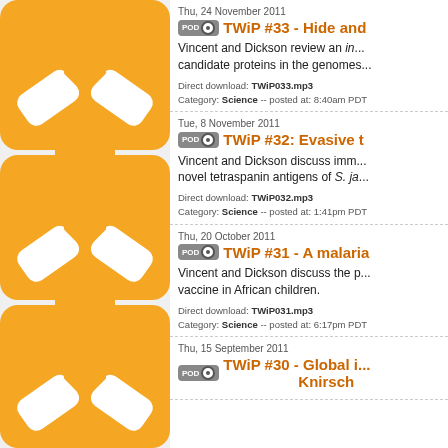[Figure (illustration): Orange decorative chain/link graphic with white X-shaped cutouts, serving as a podcast logo sidebar]
Thu, 24 November 2011
TWiP #33 - Hide and...
Vincent and Dickson review an in... candidate proteins in the genomes...
Direct download: TWiP033.mp3
Category: Science -- posted at: 8:40am PDT
Tue, 8 November 2011
TWiP #32: Evasive t...
Vincent and Dickson discuss imm... novel tetraspanin antigens of S. ja...
Direct download: TWiP032.mp3
Category: Science -- posted at: 1:41pm PDT
Thu, 20 October 2011
TWiP #31 - A malaria...
Vincent and Dickson discuss the p... vaccine in African children.
Direct download: TWiP031.mp3
Category: Science -- posted at: 6:17pm PDT
Thu, 15 September 2011
TWiP #30 - Global i... Knirsch